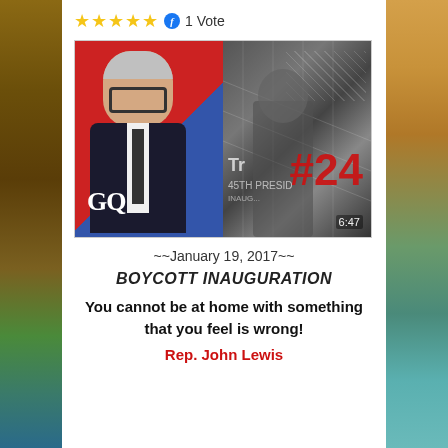★★★★★ ℹ 1 Vote
[Figure (photo): Left: Man in suit with glasses in front of red background with GQ logo. Right: Black and white image of Trump inauguration with #24 in red and timestamp 6:47]
~~January 19, 2017~~
BOYCOTT INAUGURATION
You cannot be at home with something that you feel is wrong!
Rep. John Lewis